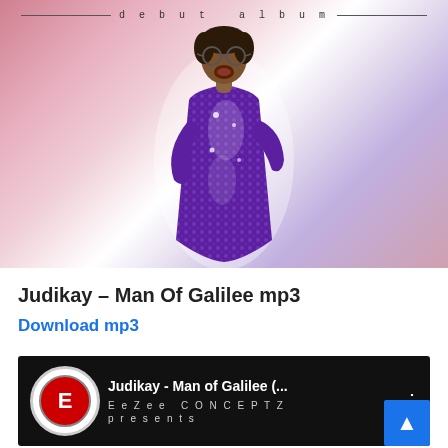[Figure (photo): Album cover photo of Judikay in a purple sequined dress, singing with arms open, against a pink and white gradient background. Text at top reads 'debut album' with lines on either side.]
Judikay – Man Of Galilee mp3
Download mp3
[Figure (screenshot): YouTube video thumbnail showing EeZee Conceptz logo and title 'Judikay - Man of Galilee (...)' with three-dot menu icon on dark background.]